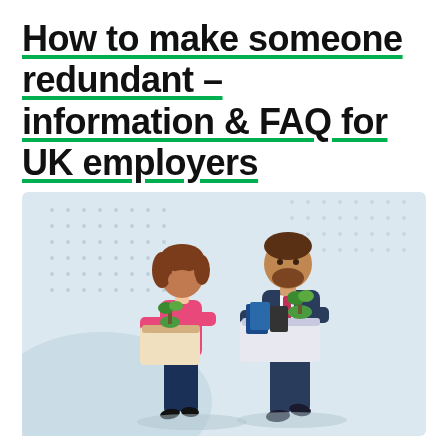How to make someone redundant – information & FAQ for UK employers
[Figure (illustration): Isometric illustration of two people (a woman in a pink top and blue jeans, and a man in a dark suit) walking and carrying boxes of belongings, suggesting they have been made redundant. Background features light blue geometric shapes and a dotted pattern.]